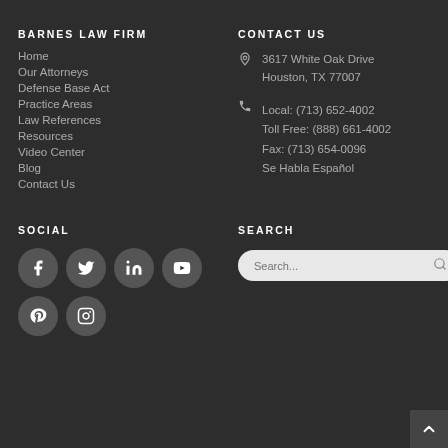BARNES LAW FIRM
Home
Our Attorneys
Defense Base Act
Practice Areas
Law References
Resources
Video Center
Blog
Contact Us
CONTACT US
3617 White Oak Drive Houston, TX 77007
Local: (713) 652-4002
Toll Free: (888) 661-4002
Fax: (713) 654-0096
Se Habla Español
SOCIAL
[Figure (infographic): Social media icon circles: Facebook, Twitter, LinkedIn (top row); YouTube, Pinterest, Instagram (bottom row)]
SEARCH
[Figure (screenshot): Search input box with placeholder text 'Search...' and a magnifying glass icon]